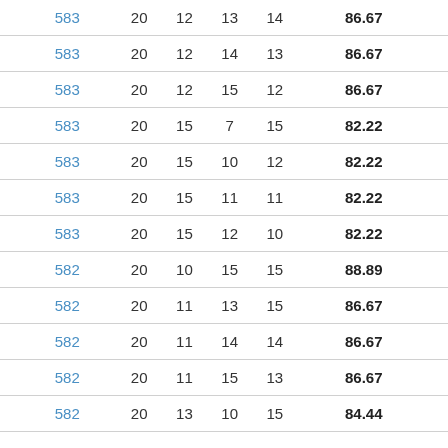| 583 | 20 | 12 | 13 | 14 | 86.67 |
| 583 | 20 | 12 | 14 | 13 | 86.67 |
| 583 | 20 | 12 | 15 | 12 | 86.67 |
| 583 | 20 | 15 | 7 | 15 | 82.22 |
| 583 | 20 | 15 | 10 | 12 | 82.22 |
| 583 | 20 | 15 | 11 | 11 | 82.22 |
| 583 | 20 | 15 | 12 | 10 | 82.22 |
| 582 | 20 | 10 | 15 | 15 | 88.89 |
| 582 | 20 | 11 | 13 | 15 | 86.67 |
| 582 | 20 | 11 | 14 | 14 | 86.67 |
| 582 | 20 | 11 | 15 | 13 | 86.67 |
| 582 | 20 | 13 | 10 | 15 | 84.44 |